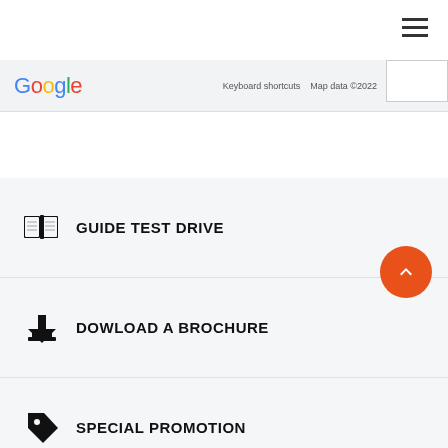[Figure (screenshot): Hamburger menu icon (three horizontal lines) in top right corner]
[Figure (screenshot): Google Maps footer bar with Google logo, Keyboard shortcuts, Map data ©2022, Terms of Use]
GUIDE TEST DRIVE
DOWLOAD A BROCHURE
SPECIAL PROMOTION